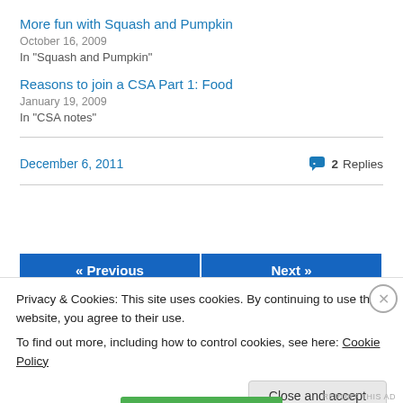More fun with Squash and Pumpkin
October 16, 2009
In "Squash and Pumpkin"
Reasons to join a CSA Part 1: Food
January 19, 2009
In "CSA notes"
December 6, 2011   2 Replies
« Previous   Next »
Privacy & Cookies: This site uses cookies. By continuing to use this website, you agree to their use.
To find out more, including how to control cookies, see here: Cookie Policy
Close and accept